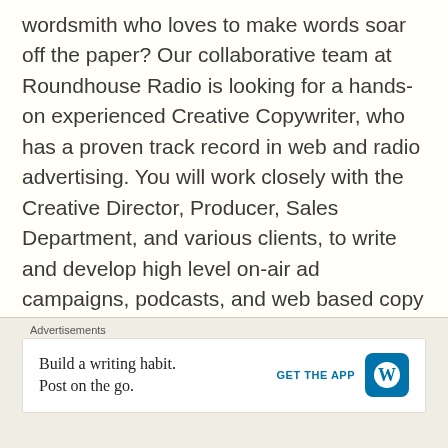wordsmith who loves to make words soar off the paper? Our collaborative team at Roundhouse Radio is looking for a hands-on experienced Creative Copywriter, who has a proven track record in web and radio advertising. You will work closely with the Creative Director, Producer, Sales Department, and various clients, to write and develop high level on-air ad campaigns, podcasts, and web based copy aimed at delivering results…
Read more/apply
COPYWRITER – Viva Naturals – Toronto, ON: As a full time member of the Viva Naturals team you will play a key role in our content development process and will guide and direct our freelance copywriting
Advertisements
Build a writing habit. Post on the go.